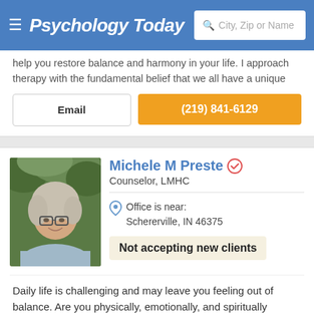Psychology Today — City, Zip or Name search
help you restore balance and harmony in your life. I approach therapy with the fundamental belief that we all have a unique
Email
(219) 841-6129
Michele M Preste — Counselor, LMHC
Office is near: Schererville, IN 46375
Not accepting new clients
Daily life is challenging and may leave you feeling out of balance. Are you physically, emotionally, and spiritually healthy? Is your relationship with your community healthy? If not, what
Email
(219) 552-8009